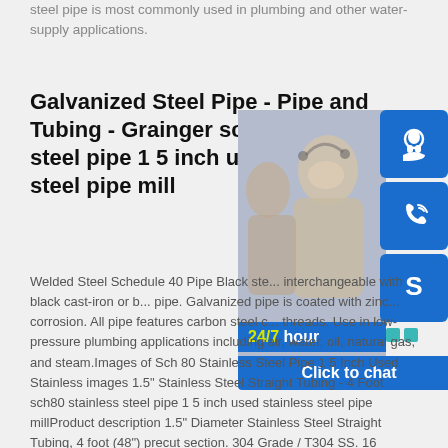steel pipe is most commonly used in plumbing and other water-supply applications.
Galvanized Steel Pipe - Pipe and Tubing - Grainger sch80 stainless steel pipe 1 5 inch used stainless steel pipe mill
[Figure (photo): Customer service representatives with headsets, overlaid with a blue 24/7 hour banner and contact icons (headset, phone, Skype), and a 'Click to chat' button.]
Welded Steel Schedule 40 Pipe Black ste... interchangeable with black cast-iron or b... pipe. Galvanized pipe is coated with zinc... corrosion. All pipe features carbon steel c... threads. Use in low-pressure plumbing applications including air, water, oil, natural gas, and steam.Images of Sch 80 Stainless Steel Pipe 1 5 Inch Used Stainless images 1.5" Stainless Steel Straight Tubing - 4 Foot sch80 stainless steel pipe 1 5 inch used stainless steel pipe millProduct description 1.5" Diameter Stainless Steel Straight Tubing, 4 foot (48") precut section. 304 Grade / T304 SS. 16 Gauge (.065") corrosion resistent tubing. Easy